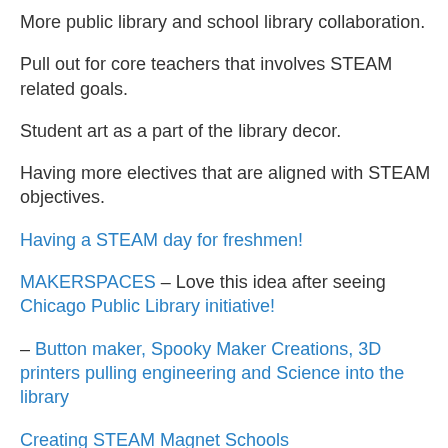More public library and school library collaboration.
Pull out for core teachers that involves STEAM related goals.
Student art as a part of the library decor.
Having more electives that are aligned with STEAM objectives.
Having a STEAM day for freshmen!
MAKERSPACES – Love this idea after seeing Chicago Public Library initiative!
– Button maker, Spooky Maker Creations, 3D printers pulling engineering and Science into the library
Creating STEAM Magnet Schools